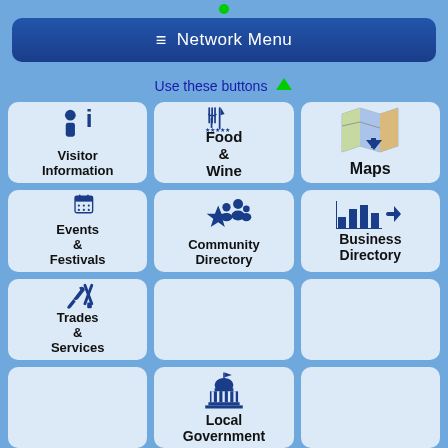[Figure (screenshot): App interface showing a network menu button and a grid of navigation tiles including Visitor Information, Food & Wine, Maps, Events & Festivals, Community Directory, Business Directory, Trades & Services, empty cells, Local Government, and partially visible bottom row]
≡ Network Menu
Use these buttons ↑
Visitor Information
Food & Wine
Maps
Events & Festivals
Community Directory
Business Directory
Trades & Services
Local Government